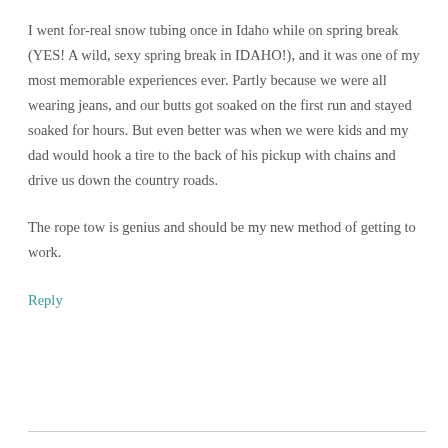I went for-real snow tubing once in Idaho while on spring break (YES! A wild, sexy spring break in IDAHO!), and it was one of my most memorable experiences ever. Partly because we were all wearing jeans, and our butts got soaked on the first run and stayed soaked for hours. But even better was when we were kids and my dad would hook a tire to the back of his pickup with chains and drive us down the country roads.
The rope tow is genius and should be my new method of getting to work.
Reply